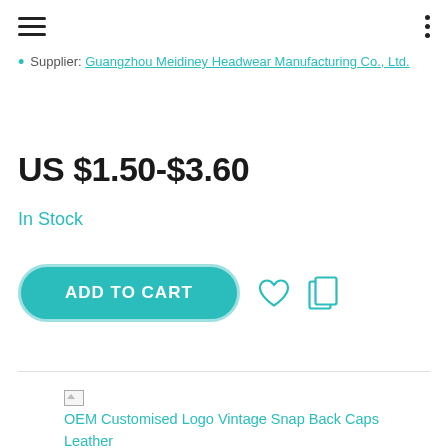Supplier: Guangzhou Meidiney Headwear Manufacturing Co., Ltd.
US $1.50-$3.60
In Stock
ADD TO CART
OEM Customised Logo Vintage Snap Back Caps Leather Aplique Cotton Mesh Gorras Trucker Hats With Patch